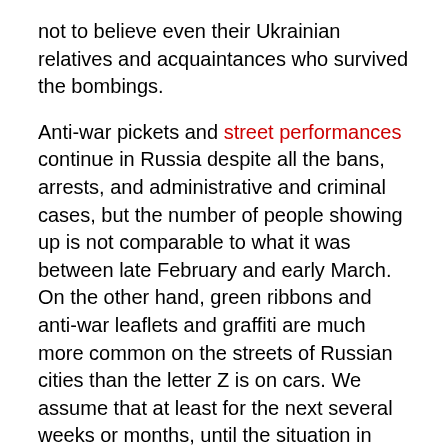not to believe even their Ukrainian relatives and acquaintances who survived the bombings.
Anti-war pickets and street performances continue in Russia despite all the bans, arrests, and administrative and criminal cases, but the number of people showing up is not comparable to what it was between late February and early March. On the other hand, green ribbons and anti-war leaflets and graffiti are much more common on the streets of Russian cities than the letter Z is on cars. We assume that at least for the next several weeks or months, until the situation in Russia changes radically, protest will be expressed not so much in the form of suppressed mass street actions, but rather in the form of street “partisanism” [i.e., anonymous individual acts of direct action] and increasing sabotage by security officials and their relatives.
It is possible that someone in power has not yet completely lost touch with reality, and that this explains